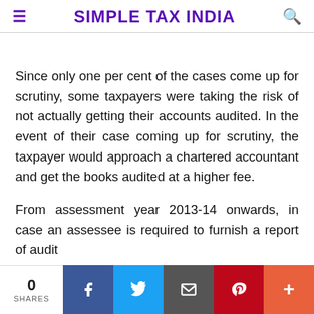SIMPLE TAX INDIA
Since only one per cent of the cases come up for scrutiny, some taxpayers were taking the risk of not actually getting their accounts audited. In the event of their case coming up for scrutiny, the taxpayer would approach a chartered accountant and get the books audited at a higher fee.
From assessment year 2013-14 onwards, in case an assessee is required to furnish a report of audit
0 SHARES | Facebook | Twitter | Email | Pinterest | More